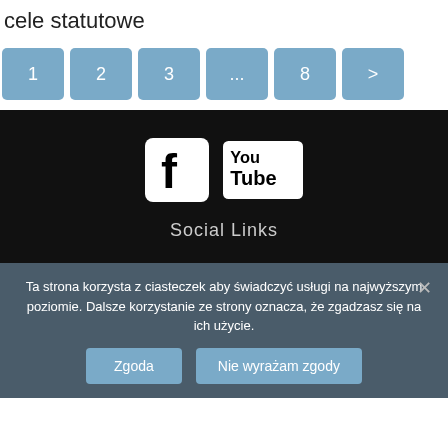cele statutowe
[Figure (screenshot): Pagination buttons: 1, 2, 3, ..., 8, >]
[Figure (screenshot): Dark footer section with Facebook and YouTube social media icons and 'Social Links' text]
Ta strona korzysta z ciasteczek aby świadczyć usługi na najwyższym poziomie. Dalsze korzystanie ze strony oznacza, że zgadzasz się na ich użycie.
Zgoda
Nie wyrażam zgody